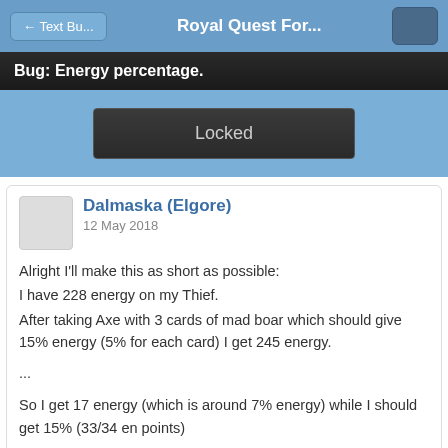← Text Bu...   Royal Quest For...
Bug: Energy percentage.
Locked
Dalmaska (Elgore)
12 May 2018
Alright I'll make this as short as possible:
I have 228 energy on my Thief.
After taking Axe with 3 cards of mad boar which should give 15% energy (5% for each card) I get 245 energy.

...

So I get 17 energy (which is around 7% energy) while I should get 15% (33/34 en points)

And no, after changing axe my stamina didnt drop so there's no reason for this bonus to be so small.